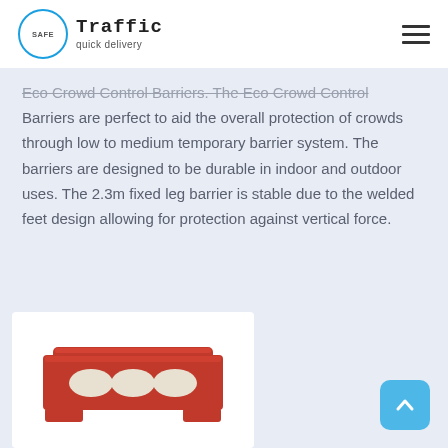SAFE Traffic quick delivery
Eco Crowd Control Barriers. The Eco Crowd Control Barriers are perfect to aid the overall protection of crowds through low to medium temporary barrier system. The barriers are designed to be durable in indoor and outdoor uses. The 2.3m fixed leg barrier is stable due to the welded feet design allowing for protection against vertical force.
[Figure (photo): Red plastic crowd control barrier / water-filled barrier unit with three oval holes, shown against white background]